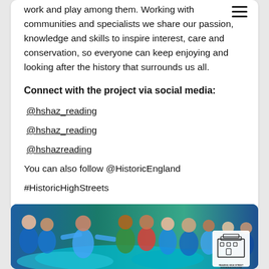work and play among them. Working with communities and specialists we share our passion, knowledge and skills to inspire interest, care and conservation, so everyone can keep enjoying and looking after the history that surrounds us all.
Connect with the project via social media:
@hshaz_reading
@hshaz_reading
@hshazreading
You can also follow @HistoricEngland
#HistoricHighStreets
[Figure (photo): Crowd of people in blue clothing at an outdoor event, with a Reading High Street Heritage Action Zone logo in the bottom right corner.]